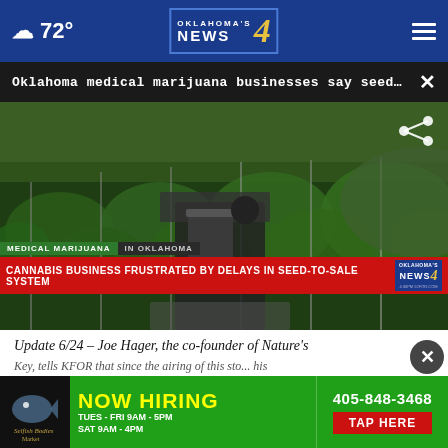72° | Oklahoma's News 4
Oklahoma medical marijuana businesses say seed-t...
[Figure (screenshot): TV news broadcast screenshot showing a person in a cannabis grow facility with rows of marijuana plants. Lower third graphic reads 'MEDICAL MARIJUANA IN OKLAHOMA' and 'CANNABIS BUSINESS FRUSTRATED BY DELAYS IN SEED-TO-SALE SYSTEM' with Oklahoma's News 4 logo and 4:36PM 92FOR.COM watermark.]
Update 6/24 – Joe Hager, the co-founder of Nature's Key, tells KFOR that since the airing of this sto... his produ... ...sale system and the issue appears to be resolved.
[Figure (infographic): Advertisement banner: Selfish Bodies Market – NOW HIRING 405-848-3468, TUES - FRI 9AM - 5PM, SAT 9AM - 4PM, TAP HERE button.]